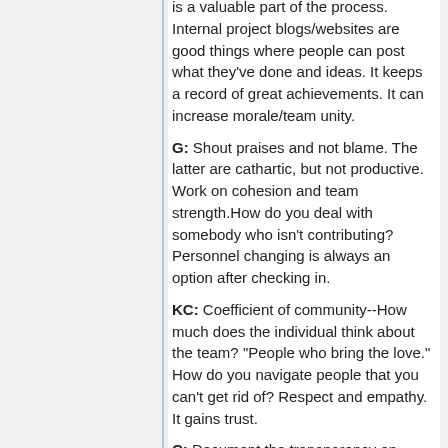is a valuable part of the process. Internal project blogs/websites are good things where people can post what they've done and ideas. It keeps a record of great achievements. It can increase morale/team unity.
G: Shout praises and not blame. The latter are cathartic, but not productive. Work on cohesion and team strength.How do you deal with somebody who isn't contributing? Personnel changing is always an option after checking in.
KC: Coefficient of community--How much does the individual think about the team? "People who bring the love." How do you navigate people that you can't get rid of? Respect and empathy. It gains trust.
C: Document the transparency on